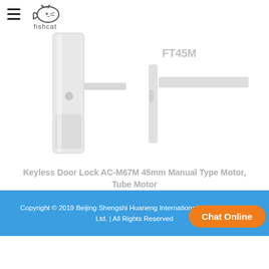[Figure (logo): Fishcat logo with cat icon and text 'fishcat']
[Figure (photo): Product image showing a keyless door lock (AC-M67M). Left side shows a tall white door lock handle unit. Right side shows another view labeled FT45M with detail panel.]
Keyless Door Lock AC-M67M 45mm Manual Type Motor, Tube Motor
Copyright © 2019 Beijing Shengshi Huaneng International Technology Co., Ltd. | All Rights Reserved
Chat Online